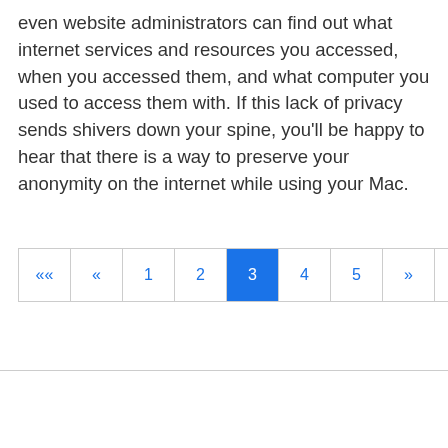even website administrators can find out what internet services and resources you accessed, when you accessed them, and what computer you used to access them with. If this lack of privacy sends shivers down your spine, you'll be happy to hear that there is a way to preserve your anonymity on the internet while using your Mac.
«« « 1 2 3 4 5 » »»
About  Privacy Policy  Terms and Conditions
© 2022. A Matt Cone project. CC BY-NC-SA 4.0. Made with ♥ in New Mexico.